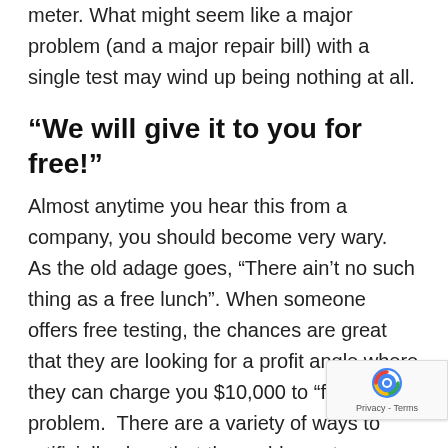meter. What might seem like a major problem (and a major repair bill) with a single test may wind up being nothing at all.
“We will give it to you for free!”
Almost anytime you hear this from a company, you should become very wary. As the old adage goes, “There ain’t no such thing as a free lunch”. When someone offers free testing, the chances are great that they are looking for a profit angle where they can charge you $10,000 to “fix” the problem. There are a variety of ways to artificially show that the mold counts are high to get your business. You are putting significant trust into a company that may not have done a thorough inspection or taken a